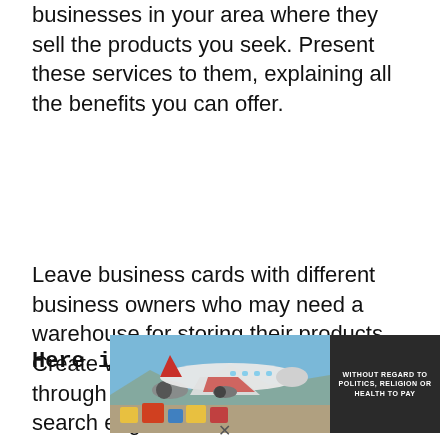businesses in your area where they sell the products you seek. Present these services to them, explaining all the benefits you can offer.
Leave business cards with different business owners who may need a warehouse for storing their products. Create websites while promoting it through local online yellow pages and search engines can be done.
Here is a sample business plan for
[Figure (photo): Advertisement image showing a cargo airplane being loaded with packages, with overlay text 'WITHOUT REGARD TO POLITICS, RELIGION OR HEALTH TO PAY']